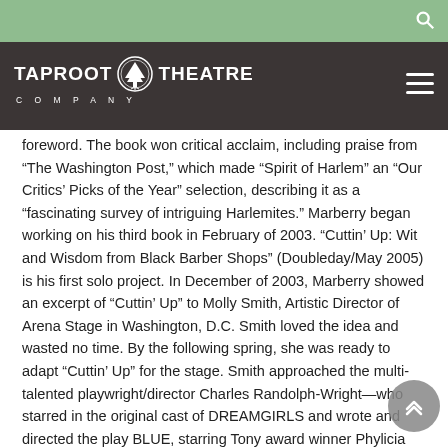Taproot Theatre Company
foreword. The book won critical acclaim, including praise from “The Washington Post,” which made “Spirit of Harlem” an “Our Critics’ Picks of the Year” selection, describing it as a “fascinating survey of intriguing Harlemites.” Marberry began working on his third book in February of 2003. “Cuttin’ Up: Wit and Wisdom from Black Barber Shops” (Doubleday/May 2005) is his first solo project. In December of 2003, Marberry showed an excerpt of “Cuttin’ Up” to Molly Smith, Artistic Director of Arena Stage in Washington, D.C. Smith loved the idea and wasted no time. By the following spring, she was ready to adapt “Cuttin’ Up” for the stage. Smith approached the multi-talented playwright/director Charles Randolph-Wright—who starred in the original cast of DREAMGIRLS and wrote and directed the play BLUE, starring Tony award winner Phylicia Rashad. The Arena Stage presented the world premiere of Charles Randolph-Wright’s adaptation of “Cuttin’ Up,” November 1, 2005 through January 1, 2006. The